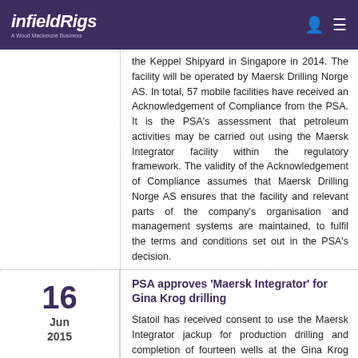infieldRigs — A Wood Mackenzie Business
the Keppel Shipyard in Singapore in 2014. The facility will be operated by Maersk Drilling Norge AS. In total, 57 mobile facilities have received an Acknowledgement of Compliance from the PSA. It is the PSA's assessment that petroleum activities may be carried out using the Maersk Integrator facility within the regulatory framework. The validity of the Acknowledgement of Compliance assumes that Maersk Drilling Norge AS ensures that the facility and relevant parts of the company's organisation and management systems are maintained, to fulfil the terms and conditions set out in the PSA's decision.
PSA approves 'Maersk Integrator' for Gina Krog drilling
Statoil has received consent to use the Maersk Integrator jackup for production drilling and completion of fourteen wells at the Gina Krog field in Norway. Gina Krog is an oil and gas discovery